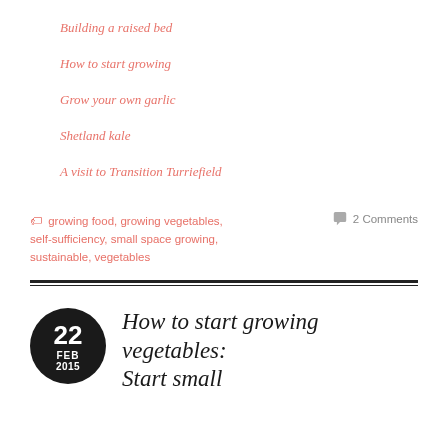Building a raised bed
How to start growing
Grow your own garlic
Shetland kale
A visit to Transition Turriefield
🏷 growing food, growing vegetables, self-sufficiency, small space growing, sustainable, vegetables
💬 2 Comments
How to start growing vegetables: Start small